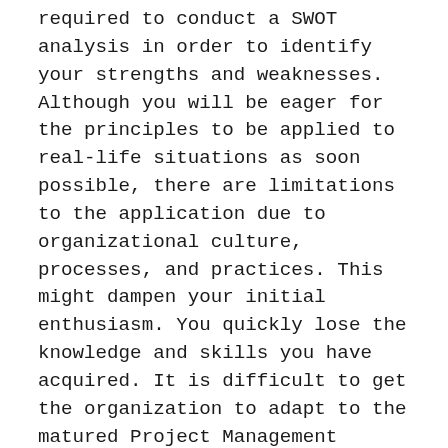required to conduct a SWOT analysis in order to identify your strengths and weaknesses. Although you will be eager for the principles to be applied to real-life situations as soon possible, there are limitations to the application due to organizational culture, processes, and practices. This might dampen your initial enthusiasm. You quickly lose the knowledge and skills you have acquired. It is difficult to get the organization to adapt to the matured Project Management culture. It is not easy to convince people of the importance of good project management practices. This is evident from the widespread use Excel-based Project Management, even in some project-based organisations.